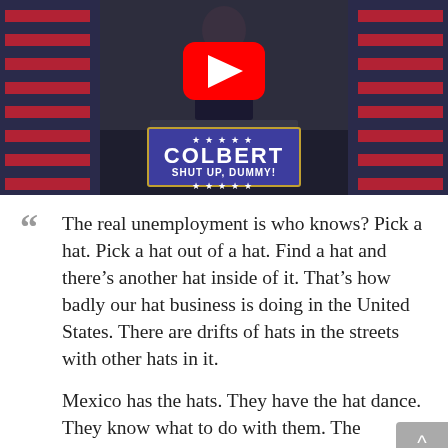[Figure (screenshot): YouTube video thumbnail showing a person at a podium with a campaign-style sign reading 'COLBERT / SHUT UP, DUMMY!' bordered by stars, flanked by American flags and a red YouTube play button overlay.]
“” The real unemployment is who knows? Pick a hat. Pick a hat out of a hat. Find a hat and there’s another hat inside of it. That’s how badly our hat business is doing in the United States. There are drifts of hats in the streets with other hats in it.

Mexico has the hats. They have the hat dance. They know what to do with them. The Mexicans know what to do with the hats and we don’t.